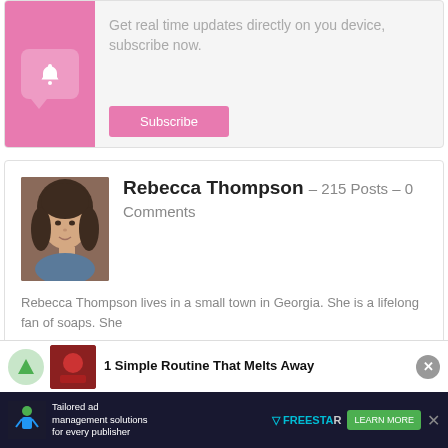[Figure (infographic): Subscribe card with pink left panel containing a bell notification icon in a speech bubble, and right panel with text 'Get real time updates directly on you device, subscribe now.' and a pink Subscribe button.]
Get real time updates directly on you device, subscribe now.
Subscribe
[Figure (photo): Author profile photo of Rebecca Thompson, a woman with dark hair.]
Rebecca Thompson – 215 Posts – 0 Comments
Rebecca Thompson lives in a small town in Georgia. She is a lifelong fan of soaps. She
[Figure (infographic): Bottom advertisement bar: '1 Simple Routine That Melts Away' with a close button (X)]
[Figure (infographic): Bottom banner ad: 'Tailored ad management solutions for every publisher' with Freestar logo and 'LEARN MORE' button.]